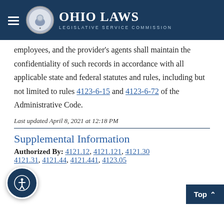Ohio Laws — Legislative Service Commission
employees, and the provider's agents shall maintain the confidentiality of such records in accordance with all applicable state and federal statutes and rules, including but not limited to rules 4123-6-15 and 4123-6-72 of the Administrative Code.
Last updated April 8, 2021 at 12:18 PM
Supplemental Information
Authorized By: 4121.12, 4121.121, 4121.30, 4121.31, 4121.44, 4121.441, 4123.05